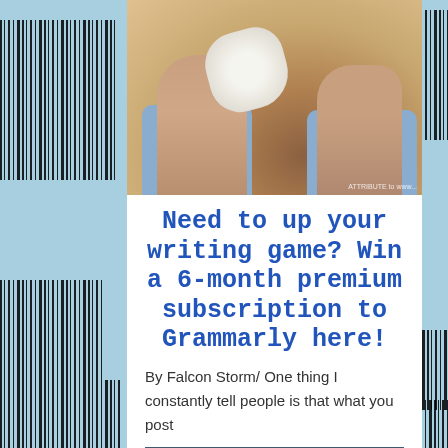[Figure (photo): Hands crumpling paper on a wooden desk with scattered crumpled papers]
Need to up your writing game? Win a 6-month premium subscription to Grammarly here!
By Falcon Storm/ One thing I constantly tell people is that what you post
KEEP READING